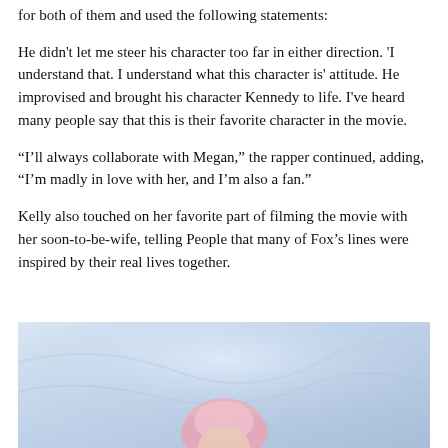for both of them and used the following statements:
He didn't let me steer his character too far in either direction. 'I understand that. I understand what this character is' attitude. He improvised and brought his character Kennedy to life. I've heard many people say that this is their favorite character in the movie.
“I’ll always collaborate with Megan,” the rapper continued, adding, “I’m madly in love with her, and I’m also a fan.”
Kelly also touched on her favorite part of filming the movie with her soon-to-be-wife, telling People that many of Fox’s lines were inspired by their real lives together.
[Figure (photo): A person with pink/light-colored hair photographed against a light blue/lavender background, visible from approximately the shoulders up, partially cropped at bottom of page.]